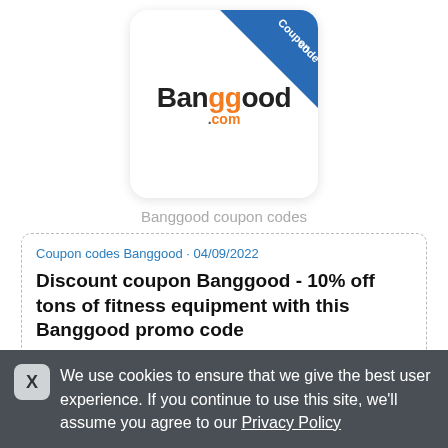[Figure (logo): Banggood.com logo with blue diagonal coupon code ribbon in top-right corner of a rounded white box]
Banggood coupon codes
Coupon codes Banggood · 04/09/2022
Discount coupon Banggood - 10% off tons of fitness equipment with this Banggood promo code
Want to stay in shape this season? Use this Banggood
We use cookies to ensure that we give the best user experience. If you continue to use this site, we'll assume you agree to our Privacy Policy